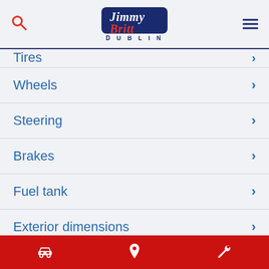Jimmy Britt Dublin
Tires
Wheels
Steering
Brakes
Fuel tank
Exterior dimensions
Cargo area dimensions
Car | Location | Wrench icons